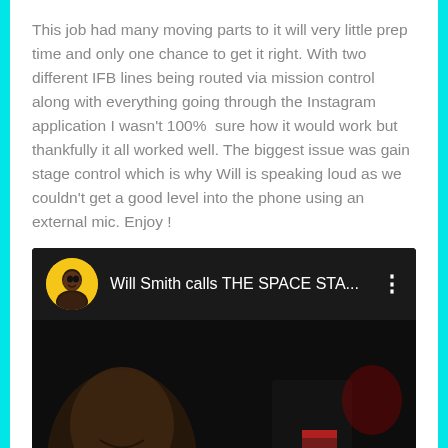This job had many moving parts to it will very little prep time and only one chance to get it right. With two different IFB lines being routed via mission control along with everything going through the Instagram application I wasn't 100%  sure how it would work but thankfully it all worked well. The biggest issue was gain stage control which is why Will is speaking loud as we couldn't get a good level into the phone using an external mic. Enjoy !
[Figure (screenshot): YouTube video thumbnail showing 'Will Smith calls THE SPACE STA...' with Will Smith's avatar, dark video frame with a man's face visible and 'LIVE FROM' text in red at the bottom]